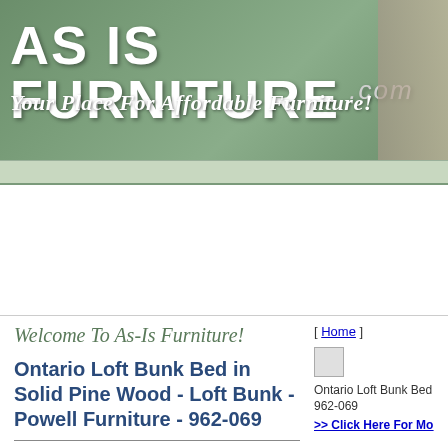[Figure (logo): AS IS FURNITURE .com banner with tagline 'Your Place For Affordable Furniture!' on green background]
Welcome To As-Is Furniture!
Ontario Loft Bunk Bed in Solid Pine Wood - Loft Bunk - Powell Furniture - 962-069
[ Home ]
[Figure (photo): Small product thumbnail image of Ontario Loft Bunk Bed]
Ontario Loft Bunk Bed 962-069
>> Click Here For Mo
The loft bed system is furniture your child can have until they are out of the house! When your child gets older, the loft bed system can be re-configured as a wall unit and rollaway bed. Just store the loft(top)bed and ladder for later use. Loft beds are perfect for sleepovers or for kids sharing the same room. There are many matching pieces in the Ontario collection in our kids section. Be